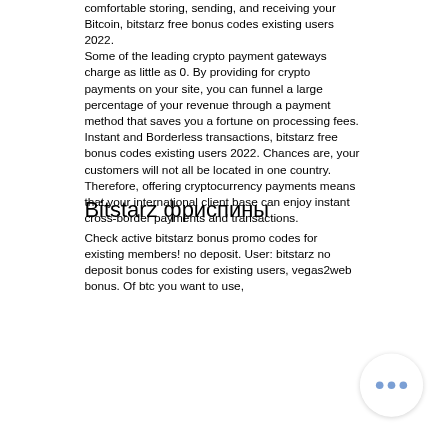comfortable storing, sending, and receiving your Bitcoin, bitstarz free bonus codes existing users 2022. Some of the leading crypto payment gateways charge as little as 0. By providing for crypto payments on your site, you can funnel a large percentage of your revenue through a payment method that saves you a fortune on processing fees. Instant and Borderless transactions, bitstarz free bonus codes existing users 2022. Chances are, your customers will not all be located in one country. Therefore, offering cryptocurrency payments means that your international client base can enjoy instant cross-border payments and transactions.
Bitstarz фриспины
Check active bitstarz bonus promo codes for existing members! no deposit. User: bitstarz no deposit bonus codes for existing users, vegas2web bonus. Of btc you want to use,